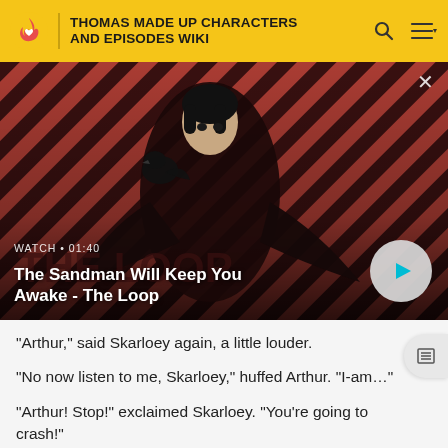THOMAS MADE UP CHARACTERS AND EPISODES WIKI
[Figure (screenshot): Video thumbnail showing a dark-cloaked figure with a raven on their shoulder against a red and dark diagonal striped background. Text overlay reads: WATCH • 01:40 / The Sandman Will Keep You Awake - The Loop. A play button (teal triangle in a light grey circle) appears bottom right.]
"Arthur," said Skarloey again, a little louder.
"No now listen to me, Skarloey," huffed Arthur. "I-am..."
"Arthur! Stop!" exclaimed Skarloey. "You're going to crash!"